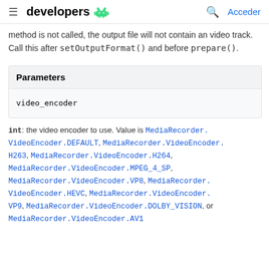developers [android logo] | Acceder
method is not called, the output file will not contain an video track. Call this after setOutputFormat() and before prepare().
| Parameters |
| --- |
| video_encoder |
int: the video encoder to use. Value is MediaRecorder.VideoEncoder.DEFAULT, MediaRecorder.VideoEncoder.H263, MediaRecorder.VideoEncoder.H264, MediaRecorder.VideoEncoder.MPEG_4_SP, MediaRecorder.VideoEncoder.VP8, MediaRecorder.VideoEncoder.HEVC, MediaRecorder.VideoEncoder.VP9, MediaRecorder.VideoEncoder.DOLBY_VISION, or MediaRecorder.VideoEncoder.AV1